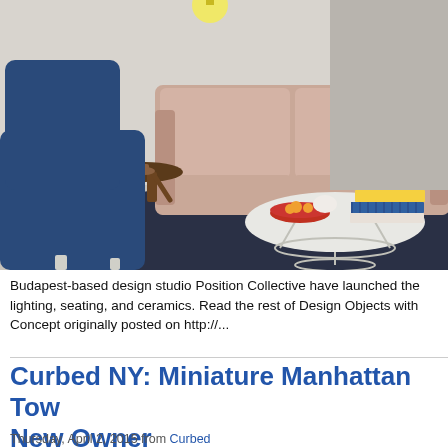[Figure (photo): Interior design photo showing a modern living room with a blue lounge chair in the foreground on a dark navy rug, a taupe/blush modular sofa in the background, a round white coffee table with a red bowl of fruit and stacked books, and a small round wooden side table.]
Budapest-based design studio Position Collective have launched the lighting, seating, and ceramics. Read the rest of Design Objects with Concept originally posted on http://...
Curbed NY: Miniature Manhattan Tow New Owner
Thursday, April 2, 2015 from Curbed